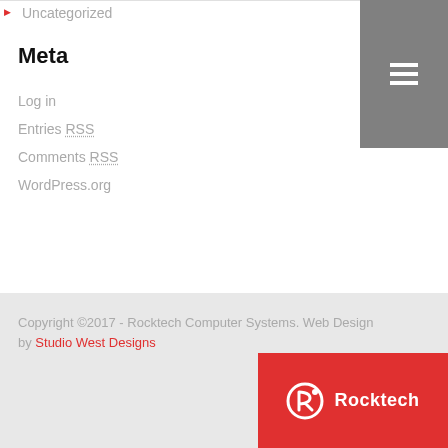Uncategorized
Meta
Log in
Entries RSS
Comments RSS
WordPress.org
Copyright ©2017 - Rocktech Computer Systems. Web Design by Studio West Designs
[Figure (logo): Rocktech logo — red background with white R icon and white text 'Rocktech']